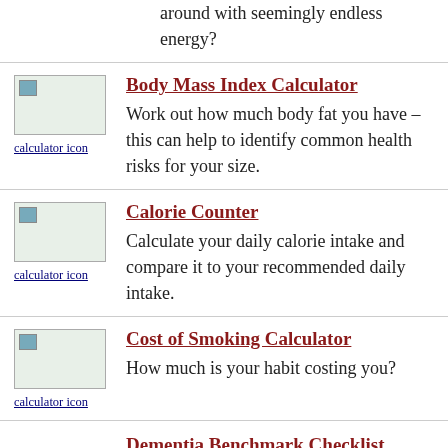around with seemingly endless energy?
Body Mass Index Calculator — Work out how much body fat you have – this can help to identify common health risks for your size.
Calorie Counter — Calculate your daily calorie intake and compare it to your recommended daily intake.
Cost of Smoking Calculator — How much is your habit costing you?
Dementia Benchmark Checklist — ...